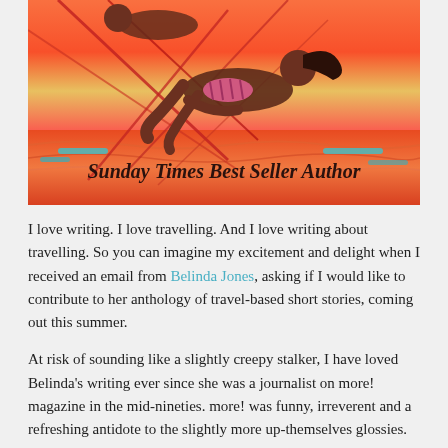[Figure (illustration): Colorful illustrated book cover showing a woman relaxing in a hammock over water at sunset in warm red/orange tones. Text overlay reads 'Sunday Times Best Seller Author' in cursive script.]
I love writing. I love travelling. And I love writing about travelling. So you can imagine my excitement and delight when I received an email from Belinda Jones, asking if I would like to contribute to her anthology of travel-based short stories, coming out this summer.
At risk of sounding like a slightly creepy stalker, I have loved Belinda's writing ever since she was a journalist on more! magazine in the mid-nineties. more! was funny, irreverent and a refreshing antidote to the slightly more up-themselves glossies.